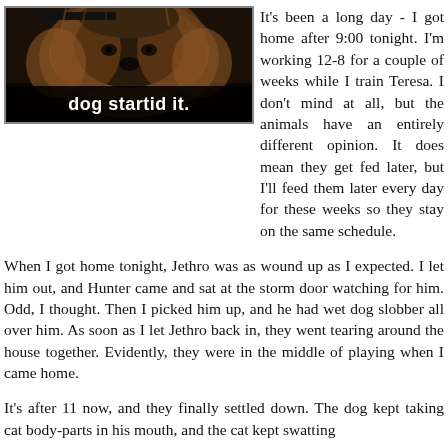[Figure (photo): A meme image of a fluffy dog (appears to be a German Shepherd or similar breed) looking menacing or guilty, with a black caption bar at the bottom reading 'dog startid it.' in white bold text.]
It's been a long day - I got home after 9:00 tonight. I'm working 12-8 for a couple of weeks while I train Teresa. I don't mind at all, but the animals have an entirely different opinion. It does mean they get fed later, but I'll feed them later every day for these weeks so they stay on the same schedule.
When I got home tonight, Jethro was as wound up as I expected. I let him out, and Hunter came and sat at the storm door watching for him. Odd, I thought. Then I picked him up, and he had wet dog slobber all over him. As soon as I let Jethro back in, they went tearing around the house together. Evidently, they were in the middle of playing when I came home.
It's after 11 now, and they finally settled down. The dog kept taking cat body-parts in his mouth, and the cat kept swatting